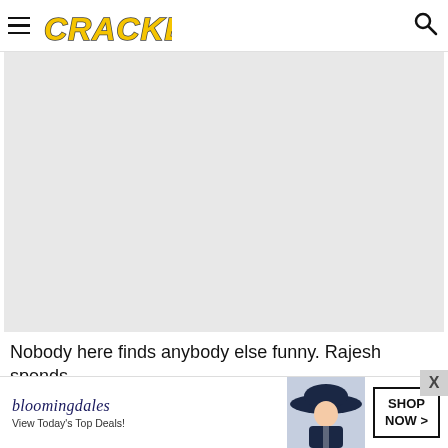CRACKED
[Figure (photo): Large light gray placeholder image area, approximately 440x280px, representing a video or image content area on the Cracked website.]
Nobody here finds anybody else funny. Rajesh spends the clip making sexist demands at Penny, who is
[Figure (other): Bloomingdale's advertisement banner: 'bloomingdales – View Today's Top Deals!' with a woman in a wide-brim navy hat, and a 'SHOP NOW >' call-to-action button.]